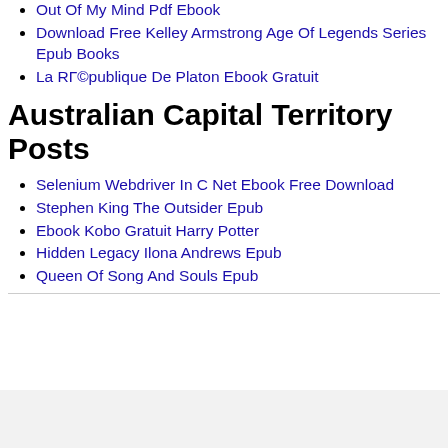Out Of My Mind Pdf Ebook
Download Free Kelley Armstrong Age Of Legends Series Epub Books
La RГ©publique De Platon Ebook Gratuit
Australian Capital Territory Posts
Selenium Webdriver In C Net Ebook Free Download
Stephen King The Outsider Epub
Ebook Kobo Gratuit Harry Potter
Hidden Legacy Ilona Andrews Epub
Queen Of Song And Souls Epub